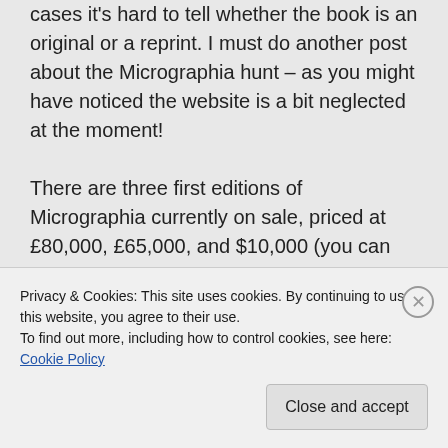cases it's hard to tell whether the book is an original or a reprint. I must do another post about the Micrographia hunt – as you might have noticed the website is a bit neglected at the moment! There are three first editions of Micrographia currently on sale, priced at £80,000, £65,000, and $10,000 (you can see them advertised on Abebooks.com). Fingers crossed for a very exciting Christmas present! 🙂
Privacy & Cookies: This site uses cookies. By continuing to use this website, you agree to their use. To find out more, including how to control cookies, see here: Cookie Policy
Close and accept